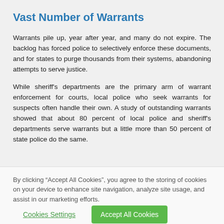Vast Number of Warrants
Warrants pile up, year after year, and many do not expire. The backlog has forced police to selectively enforce these documents, and for states to purge thousands from their systems, abandoning attempts to serve justice.
While sheriff's departments are the primary arm of warrant enforcement for courts, local police who seek warrants for suspects often handle their own. A study of outstanding warrants showed that about 80 percent of local police and sheriff's departments serve warrants but a little more than 50 percent of state police do the same.
By clicking “Accept All Cookies”, you agree to the storing of cookies on your device to enhance site navigation, analyze site usage, and assist in our marketing efforts.
Cookies Settings
Accept All Cookies